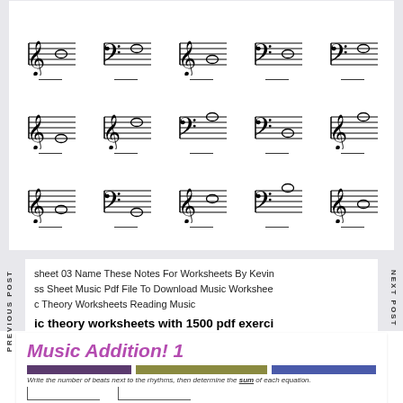[Figure (illustration): Music notation worksheet showing three rows of five staff cells each. Each cell contains a treble or bass clef with a whole note on different positions, followed by an answer blank line below.]
sheet 03 Name These Notes For Worksheets By Kevin ss Sheet Music Pdf File To Download Music Workshee c Theory Worksheets Reading Music
ic theory worksheets with 1500 pdf exerci o music theory free printable music theor worksheets source image.
[Figure (illustration): Bottom preview image showing 'Music Addition! 1' worksheet with purple title, three colored bars (purple, olive, blue), instruction text reading 'Write the number of beats next to the rhythms, then determine the sum of each equation.' and partial musical staff lines at bottom.]